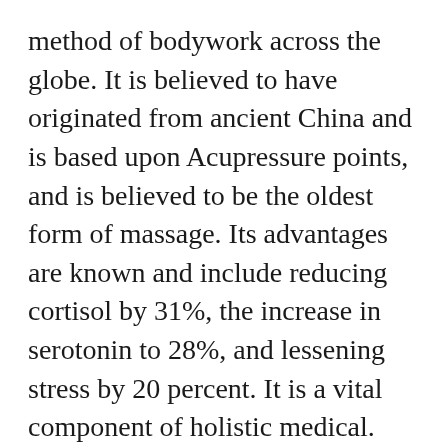method of bodywork across the globe. It is believed to have originated from ancient China and is based upon Acupressure points, and is believed to be the oldest form of massage. Its advantages are known and include reducing cortisol by 31%, the increase in serotonin to 28%, and lessening stress by 20 percent. It is a vital component of holistic medical. Acupressure is the most well-known method of Chinese massages in China is acupressure.
The use of acupuncture points is as part of Chinese massage. These are the points in which the massage therapist intends to